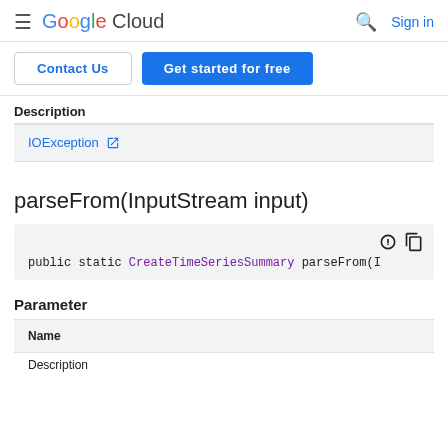Google Cloud  Sign in
Contact Us  Get started for free
Description
| Description |
| --- |
| IOException [external link] |
parseFrom(InputStream input)
public static CreateTimeSeriesSummary parseFrom(I
Parameter
| Name |
| --- |
| Description |